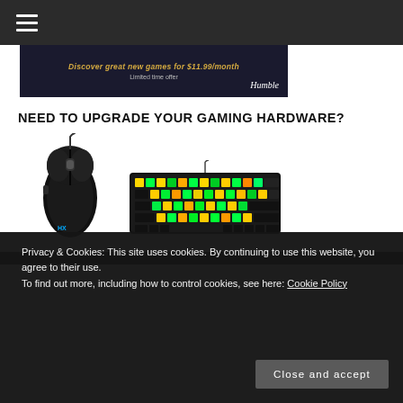Navigation menu (hamburger icon)
[Figure (screenshot): Humble Games advertisement banner: 'Discover great new games for $11.99/month. Limited time offer. Humble']
NEED TO UPGRADE YOUR GAMING HARDWARE?
[Figure (photo): HyperX gaming mouse (black, wired)]
[Figure (photo): Gaming keyboard with RGB lighting (green/yellow keys)]
Privacy & Cookies: This site uses cookies. By continuing to use this website, you agree to their use.
To find out more, including how to control cookies, see here: Cookie Policy
Close and accept